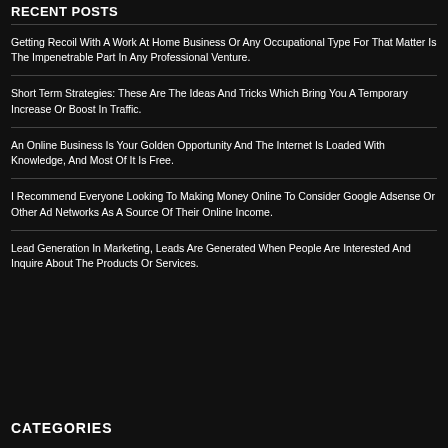RECENT POSTS
Getting Recoil With A Work At Home Business Or Any Occupational Type For That Matter Is The Impenetrable Part In Any Professional Venture.
Short Term Strategies: These Are The Ideas And Tricks Which Bring You A Temporary Increase Or Boost In Traffic.
An Online Business Is Your Golden Opportunity And The Internet Is Loaded With Knowledge, And Most Of It Is Free.
I Recommend Everyone Looking To Making Money Online To Consider Google Adsense Or Other Ad Networks As A Source Of Their Online Income.
Lead Generation In Marketing, Leads Are Generated When People Are Interested And Inquire About The Products Or Services.
CATEGORIES